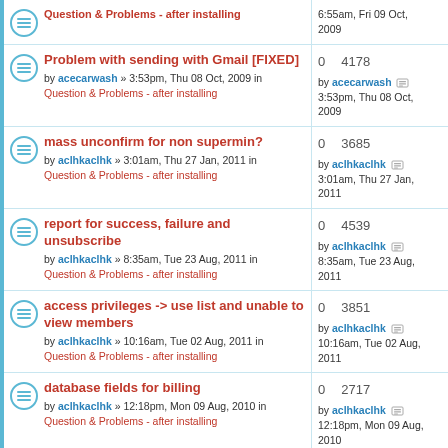Problem with sending with Gmail [FIXED] by acecarwash » 3:53pm, Thu 08 Oct, 2009 in Question & Problems - after installing | 0 replies 4178 views | by acecarwash 3:53pm, Thu 08 Oct, 2009
mass unconfirm for non supermin? by aclhkaclhk » 3:01am, Thu 27 Jan, 2011 in Question & Problems - after installing | 0 replies 3685 views | by aclhkaclhk 3:01am, Thu 27 Jan, 2011
report for success, failure and unsubscribe by aclhkaclhk » 8:35am, Tue 23 Aug, 2011 in Question & Problems - after installing | 0 replies 4539 views | by aclhkaclhk 8:35am, Tue 23 Aug, 2011
access privileges -> use list and unable to view members by aclhkaclhk » 10:16am, Tue 02 Aug, 2011 in Question & Problems - after installing | 0 replies 3851 views | by aclhkaclhk 10:16am, Tue 02 Aug, 2011
database fields for billing by aclhkaclhk » 12:18pm, Mon 09 Aug, 2010 in Question & Problems - after installing | 0 replies 2717 views | by aclhkaclhk 12:18pm, Mon 09 Aug, 2010